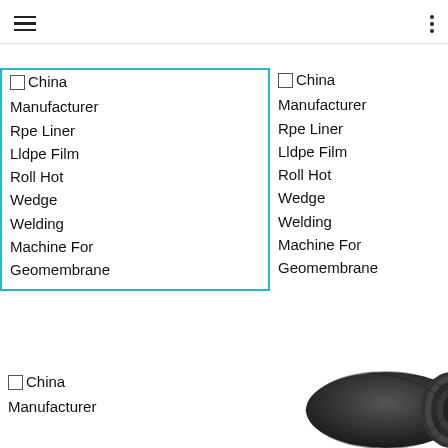Navigation header with hamburger menu and dots menu
China Manufacturer Rpe Liner Lldpe Film Roll Hot Wedge Welding Machine For Geomembrane (highlighted/selected card)
China Manufacturer Rpe Liner Lldpe Film Roll Hot Wedge Welding Machine For Geomembrane
China Manufacturer Rpe Liner Lldpe Film Roll Hot Wedge Welding Machine For Geomembrane
China Manufacturer Rpe Liner Lldpe Film Roll Hot Wedge Welding Machine For Geomembrane
China Manufacturer
[Figure (photo): A rolled black geomembrane liner product photo]
China Manufacturer